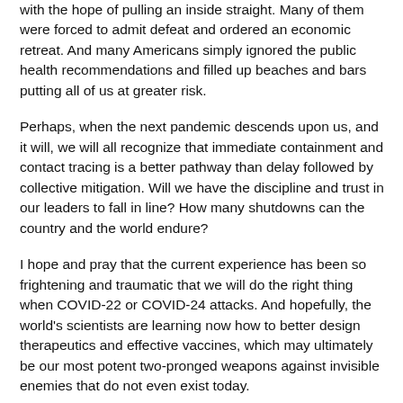with the hope of pulling an inside straight.  Many of them were forced to admit defeat and ordered an economic retreat.  And many Americans simply ignored the public health recommendations and filled up beaches and bars putting all of us at greater risk.
Perhaps, when the next pandemic descends upon us, and it will, we will all recognize that immediate containment and contact tracing is a better pathway than delay followed by collective mitigation.  Will we have the discipline and trust in our leaders to fall in line?   How many shutdowns can the country and the world endure?
I hope and pray that the current experience has been so frightening and traumatic that we will do the right thing when COVID-22 or COVID-24 attacks.   And hopefully, the world's scientists are learning now how to better design therapeutics and effective vaccines, which may ultimately be our most potent two-pronged weapons against invisible enemies that do not even exist today.